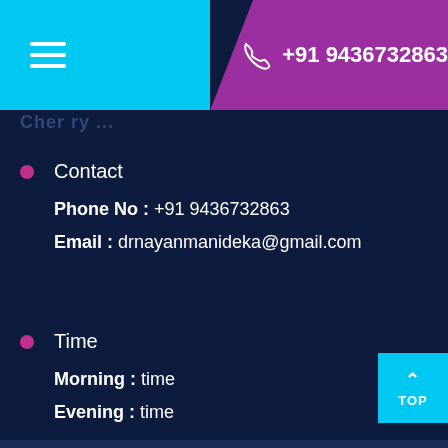+91 9436732863
Contact
Phone No : +91 9436732863
Email : drnayanmanideka@gmail.com
Time
Morning : time
Evening : time